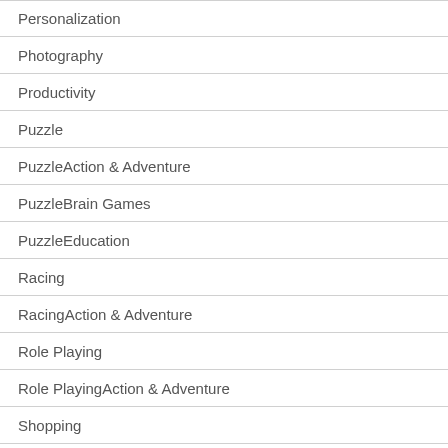Personalization
Photography
Productivity
Puzzle
PuzzleAction & Adventure
PuzzleBrain Games
PuzzleEducation
Racing
RacingAction & Adventure
Role Playing
Role PlayingAction & Adventure
Shopping
Simulation